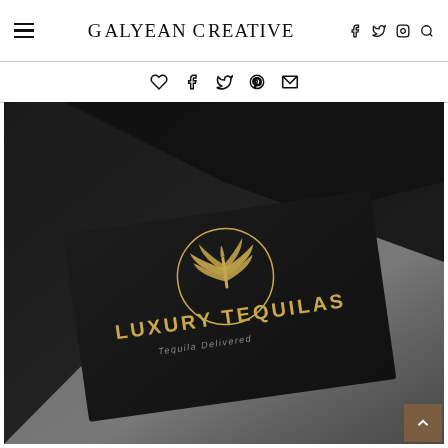Galyean Creative
[Figure (screenshot): Website social share icon bar with heart, facebook, twitter, pinterest, and email icons]
[Figure (photo): Dark black business card mockup for 'Luxury Tequilas - Tequila Delivered' with a gold agave plant logo inside a circle, placed on a dark surface with a light grey reflective material underneath]